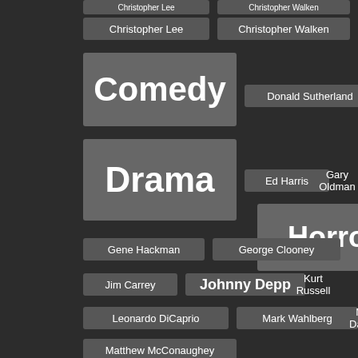[Figure (infographic): Tag cloud showing movie genres and actor names as clickable tags on a dark background. Genres (Comedy, Drama, Horror, Music, Other, SciFi, Thriller) appear larger. Actor names appear as smaller tags.]